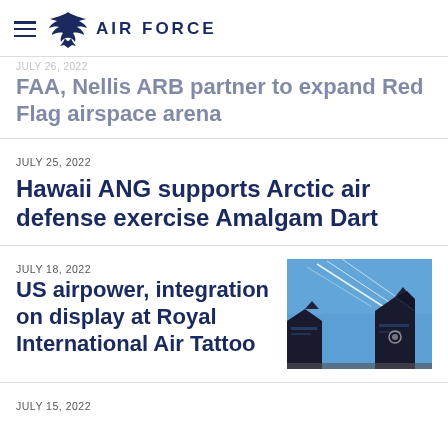AIR FORCE
JULY 26, 2022
FAA, Nellis ARB partner to expand Red Flag airspace arena
JULY 25, 2022
Hawaii ANG supports Arctic air defense exercise Amalgam Dart
JULY 18, 2022
US airpower, integration on display at Royal International Air Tattoo
[Figure (photo): Aircraft contrails in blue sky above tail fins of aircraft on ground]
JULY 15, 2022